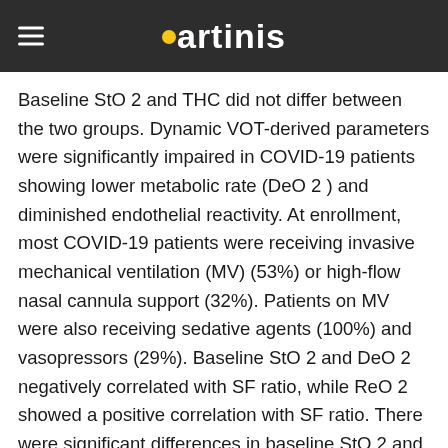artinis
Baseline StO 2 and THC did not differ between the two groups. Dynamic VOT-derived parameters were significantly impaired in COVID-19 patients showing lower metabolic rate (DeO 2 ) and diminished endothelial reactivity. At enrollment, most COVID-19 patients were receiving invasive mechanical ventilation (MV) (53%) or high-flow nasal cannula support (32%). Patients on MV were also receiving sedative agents (100%) and vasopressors (29%). Baseline StO 2 and DeO 2 negatively correlated with SF ratio, while ReO 2 showed a positive correlation with SF ratio. There were significant differences in baseline StO 2 and ReO 2 among the different ARDS groups according to SF ratio, but not among different respiratory support therapies. Conclusion Patients with severe COVID-19 show systemic